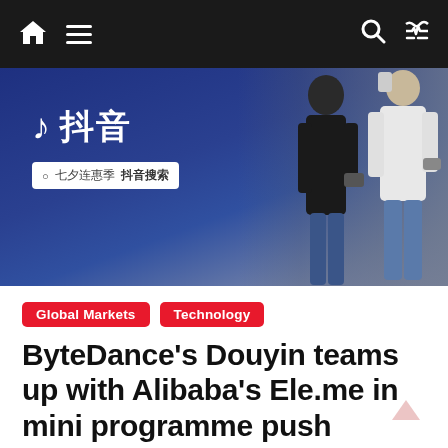Navigation bar with home, menu, search, and shuffle icons
[Figure (photo): Photo of Douyin (TikTok China) advertising sign with Chinese characters showing the Douyin logo and search bar, with two people in the background using smartphones]
Global Markets  Technology
ByteDance's Douyin teams up with Alibaba's Ele.me in mini programme push
August 19, 2022   walter